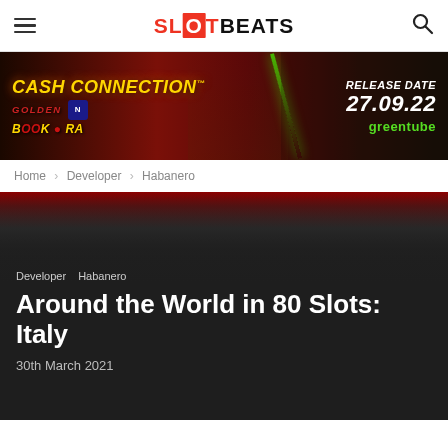SlotBeats
[Figure (photo): Cash Connection Golden Book of Ra promotional banner ad with a cowboy figure, showing release date 27.09.22, Greentube branding]
Home › Developer › Habanero
Developer  Habanero
Around the World in 80 Slots: Italy
30th March 2021